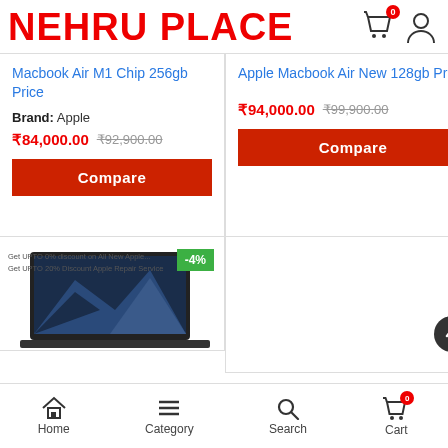NEHRU PLACE
Macbook Air M1 Chip 256gb Price
Brand: Apple
₹84,000.00 ₹92,900.00
Compare
Apple Macbook Air New 128gb Price
₹94,000.00 ₹99,900.00
Compare
[Figure (screenshot): Laptop product image with -4% discount badge and promo text]
Home   Category   Search   Cart